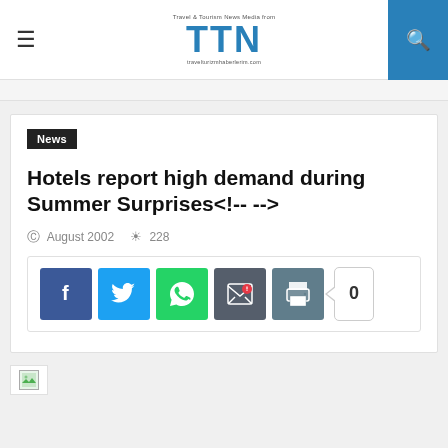TTN - Travel & Tourism News Media from...
News
Hotels report high demand during Summer Surprises<!-- -->
August 2002   228
[Figure (screenshot): Social share buttons: Facebook, Twitter, WhatsApp, Email, Print, and a count button showing 0]
[Figure (photo): Broken image placeholder (small green icon, image failed to load)]